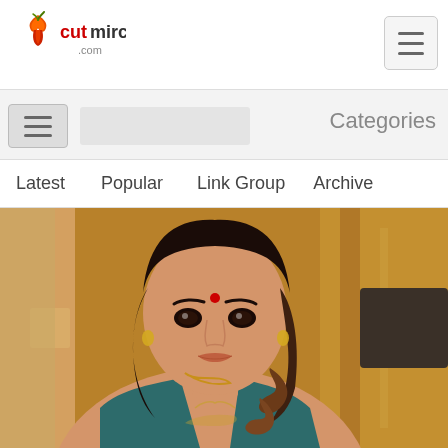cutmirchi.com logo and navigation header
[Figure (logo): cutmirchi.com logo with red chili pepper icon and stylized text]
Categories
Latest   Popular   Link Group   Archive
[Figure (photo): Portrait photo of a young Indian woman with curly hair wearing a teal/green outfit, with a red bindi, gold earrings and necklace, against a warm brown/wood background]